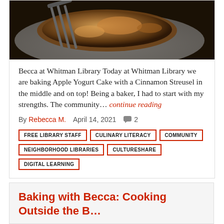[Figure (photo): Close-up photo of a baked cake or pastry on a plate, with a fork, showing a crumbly streusel topping]
Becca at Whitman Library Today at Whitman Library we are baking Apple Yogurt Cake with a Cinnamon Streusel in the middle and on top! Being a baker, I had to start with my strengths. The community… continue reading
By Rebecca M.   April 14, 2021   💬 2
FREE LIBRARY STAFF
CULINARY LITERACY
COMMUNITY
NEIGHBORHOOD LIBRARIES
CULTURESHARE
DIGITAL LEARNING
Baking with Becca: Cooking Outside the B…